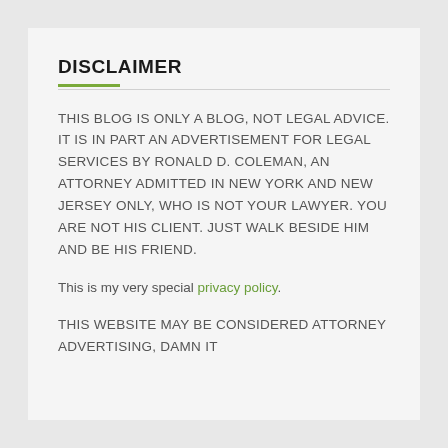DISCLAIMER
THIS BLOG IS ONLY A BLOG, NOT LEGAL ADVICE. IT IS IN PART AN ADVERTISEMENT FOR LEGAL SERVICES BY RONALD D. COLEMAN, AN ATTORNEY ADMITTED IN NEW YORK AND NEW JERSEY ONLY, WHO IS NOT YOUR LAWYER. YOU ARE NOT HIS CLIENT. JUST WALK BESIDE HIM AND BE HIS FRIEND.
This is my very special privacy policy.
THIS WEBSITE MAY BE CONSIDERED ATTORNEY ADVERTISING, DAMN IT